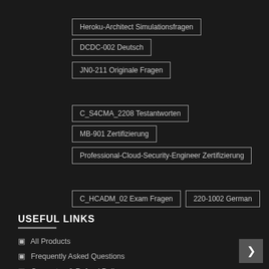Heroku-Architect Simulationsfragen
DCDC-002 Deutsch
JN0-211 Originale Fragen
C_S4CMA_2208 Testantworten
MB-901 Zertifizierung
Professional-Cloud-Security-Engineer Zertifizierung
C_HCADM_02 Exam Fragen
220-1002 German
USEFUL LINKS
All Products
Frequently Asked Questions
Guarantee & Refund Policy
How to buy?
About Us